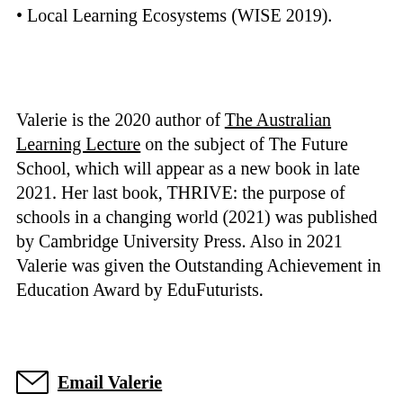Local Learning Ecosystems (WISE 2019).
Valerie is the 2020 author of The Australian Learning Lecture on the subject of The Future School, which will appear as a new book in late 2021. Her last book, THRIVE: the purpose of schools in a changing world (2021) was published by Cambridge University Press. Also in 2021 Valerie was given the Outstanding Achievement in Education Award by EduFuturists.
Email Valerie